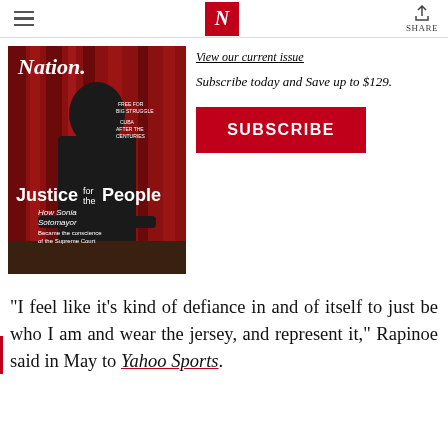The Nation — navigation header with hamburger menu, N logo, and Share button
[Figure (photo): The Nation magazine cover featuring Justice Sonia Sotomayor with headline 'Justice for the People']
View our current issue
Subscribe today and Save up to $129.
SUBSCRIBE
“I feel like it’s kind of defiance in and of itself to just be who I am and wear the jersey, and represent it,” Rapinoe said in May to Yahoo Sports.